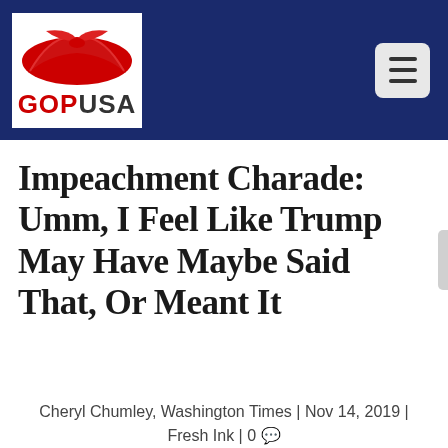GOPUSA
Impeachment Charade: Umm, I Feel Like Trump May Have Maybe Said That, Or Meant It
Cheryl Chumley, Washington Times | Nov 14, 2019 | Fresh Ink | 0